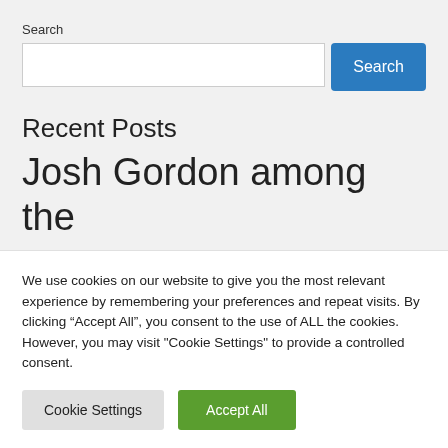Search
Recent Posts
Josh Gordon among the released players
We use cookies on our website to give you the most relevant experience by remembering your preferences and repeat visits. By clicking “Accept All”, you consent to the use of ALL the cookies. However, you may visit "Cookie Settings" to provide a controlled consent.
Cookie Settings | Accept All